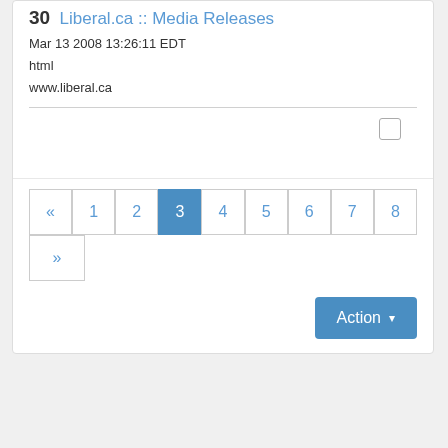30  Liberal.ca :: Media Releases
Mar 13 2008 13:26:11 EDT
html
www.liberal.ca
« 1 2 3 4 5 6 7 8 »
Action ▾